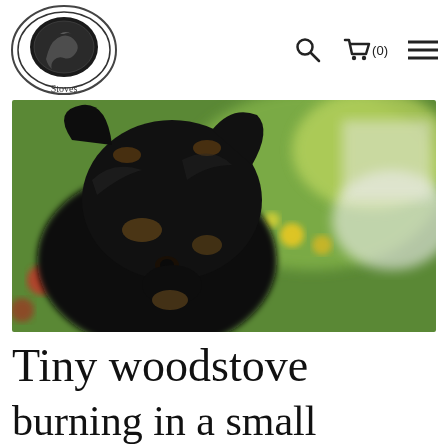Salamander Stoves — navigation header with logo, search icon, cart (0), and menu icon
[Figure (photo): Close-up photograph of a small black terrier dog looking up at the camera, with a blurred garden background featuring green plants and yellow flowers]
Tiny woodstove
burning in a small...